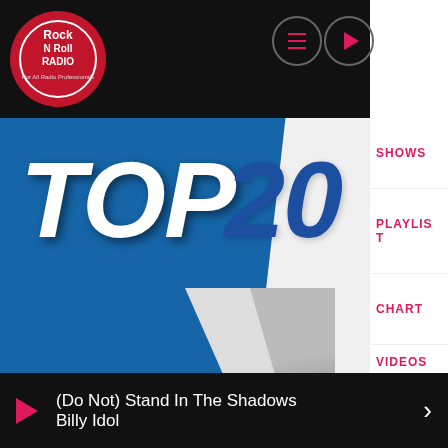[Figure (screenshot): Rock N Roll Radio logo in top left nav bar]
[Figure (illustration): TOP 20 banner graphic with blue background and large white and blue bold italic text]
SHOWS
PLAYLIST
CHART
VIDEOS
1 Man In The Box - ALICE IN CHAINS
2 Like A Stone - AUDIOSLAVE
3 Closer To The Heart
(Do Not) Stand In The Shadows
Billy Idol